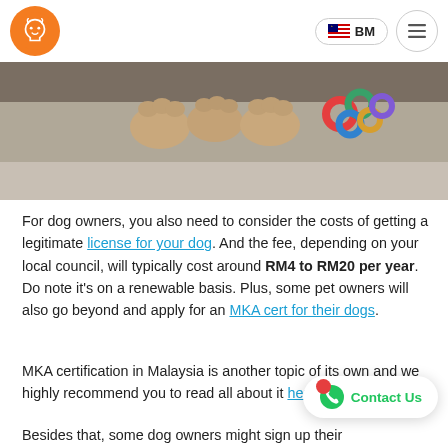BM (language selector) and menu icon
[Figure (photo): Close-up photo of a dog's paws on a grey carpet with colorful toy rings]
For dog owners, you also need to consider the costs of getting a legitimate license for your dog. And the fee, depending on your local council, will typically cost around RM4 to RM20 per year. Do note it's on a renewable basis. Plus, some pet owners will also go beyond and apply for an MKA cert for their dogs.
MKA certification in Malaysia is another topic of its own and we highly recommend you to read all about it here.
Besides that, some dog owners might sign up their